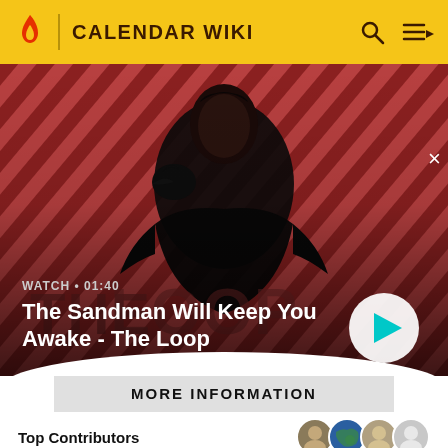CALENDAR WIKI
[Figure (screenshot): Hero banner showing a dark-cloaked figure with a raven on their shoulder against a red diagonal striped background. Text overlay reads: WATCH • 01:40 / The Sandman Will Keep You Awake - The Loop. A play button circle is visible at bottom right.]
MORE INFORMATION
Top Contributors